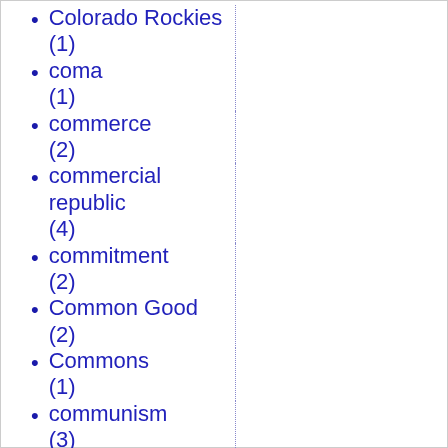Colorado Rockies (1)
coma (1)
commerce (2)
commercial republic (4)
commitment (2)
Common Good (2)
Commons (1)
communism (3)
Communism (13)
community (3)
compassion (1)